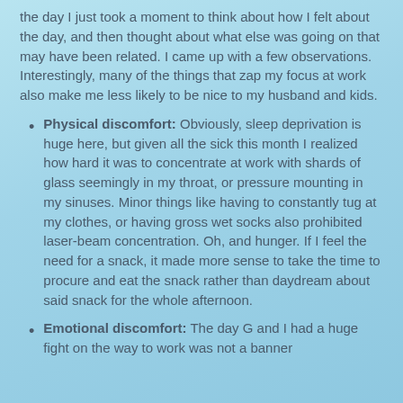the day I just took a moment to think about how I felt about the day, and then thought about what else was going on that may have been related. I came up with a few observations. Interestingly, many of the things that zap my focus at work also make me less likely to be nice to my husband and kids.
Physical discomfort: Obviously, sleep deprivation is huge here, but given all the sick this month I realized how hard it was to concentrate at work with shards of glass seemingly in my throat, or pressure mounting in my sinuses. Minor things like having to constantly tug at my clothes, or having gross wet socks also prohibited laser-beam concentration. Oh, and hunger. If I feel the need for a snack, it made more sense to take the time to procure and eat the snack rather than daydream about said snack for the whole afternoon.
Emotional discomfort: The day G and I had a huge fight on the way to work was not a banner